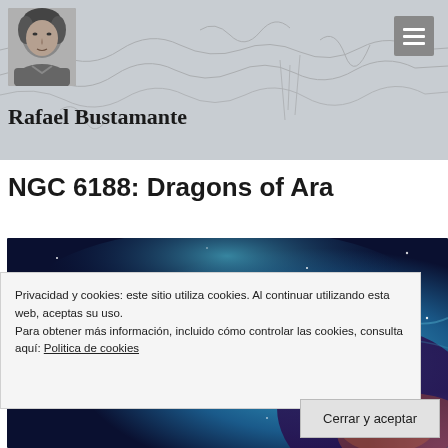Rafael Bustamante
NGC 6188: Dragons of Ara
[Figure (photo): Nebula photograph showing NGC 6188, colorful blue, teal, and purple cosmic gas clouds]
Privacidad y cookies: este sitio utiliza cookies. Al continuar utilizando esta web, aceptas su uso.
Para obtener más información, incluido cómo controlar las cookies, consulta aquí: Politica de cookies
Cerrar y aceptar